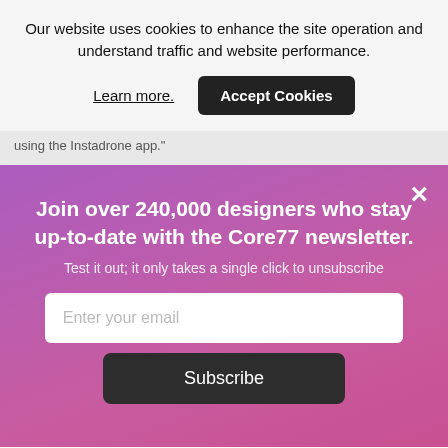Our website uses cookies to enhance the site operation and understand traffic and website performance.
Learn more.
Accept Cookies
using the Instadrone app."
×
Join over 240,000 designers who stay up-to-date with the Core77 newsletter.
Test it out; it only takes a single click to unsubscribe
Enter your email
Subscribe